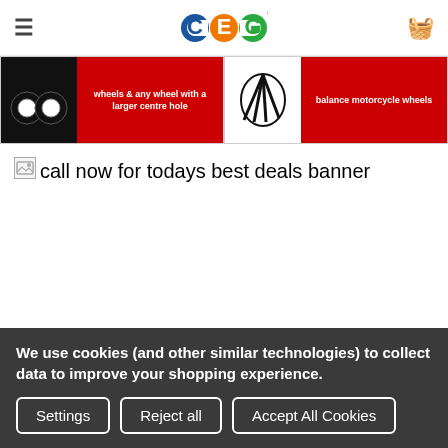CEG logo header with hamburger menu and basket icon
[Figure (screenshot): Two promotional banner panels showing wheel balancing products. Left panel: two black rubber rings/wheels on dark background with red panel text 'wheels & any wheel with a larger centre hole'. Right panel: wheel spokes/tools on white background with red panel text 'balance motorcycle wheels'.]
[Figure (photo): Broken image placeholder for 'call now for todays best deals banner']
call now for todays best deals banner
All Eurotek wheel balancing equipment is supplied with a 24 month parts only warranty
We use cookies (and other similar technologies) to collect data to improve your shopping experience.